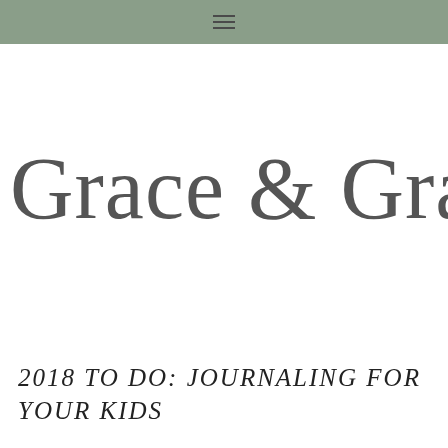≡
Grace & Granola
2018 TO DO: JOURNALING FOR YOUR KIDS